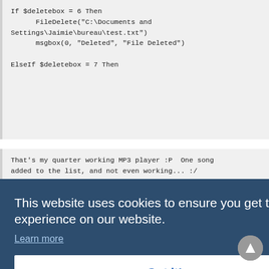If $deletebox = 6 Then
    FileDelete("C:\Documents and Settings\Jaimie\bureau\test.txt")
    msgbox(0, "Deleted", "File Deleted")

ElseIf $deletebox = 7 Then
That's my quarter working MP3 player :P  One song added to the list, and not even working... :/

#include <GUIConstants.au3>
Opt("GUIOnEventMode",1)
GUICreate("MP3 Player", 250, 250)
GUISetState(@SW_SHOW)
$roboto = GUICtrlCreateButton ("Mr. Roboto - 80's Styx"  -1  -1)
This website uses cookies to ensure you get the best experience on our website.
Learn more
Got it!
ElseIf $no = 1 Then